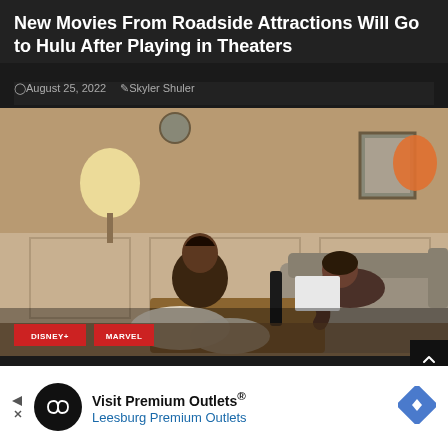New Movies From Roadside Attractions Will Go to Hulu After Playing in Theaters
August 25, 2022  Skyler Shuler
[Figure (photo): Two women in a warmly lit living room scene. One woman sitting on the floor, one reclining on a couch. Tags reading DISNEY+ and MARVEL overlaid at bottom left.]
Visit Premium Outlets® Leesburg Premium Outlets